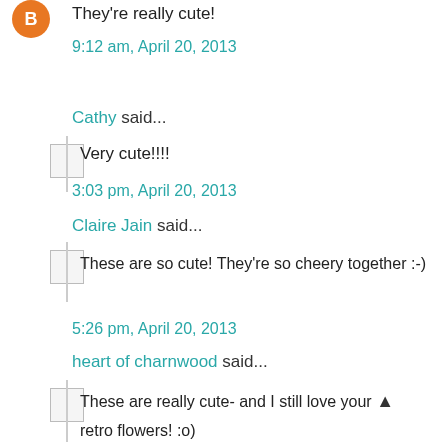They're really cute!
9:12 am, April 20, 2013
Cathy said...
Very cute!!!!
3:03 pm, April 20, 2013
Claire Jain said...
These are so cute! They're so cheery together :-)
5:26 pm, April 20, 2013
heart of charnwood said...
These are really cute- and I still love your retro flowers! :o)